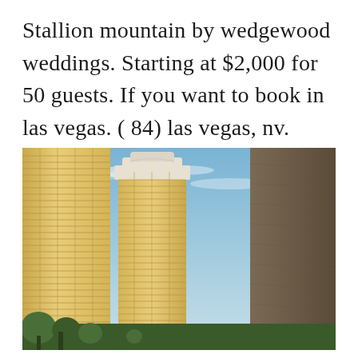Stallion mountain by wedgewood weddings. Starting at $2,000 for 50 guests. If you want to book in las vegas. ( 84) las vegas, nv.
[Figure (photo): Exterior photo looking up at two tall gold/tan high-rise hotel or condominium towers with a blue sky backdrop and a tan textured concrete wall on the right side; green trees visible at the bottom.]